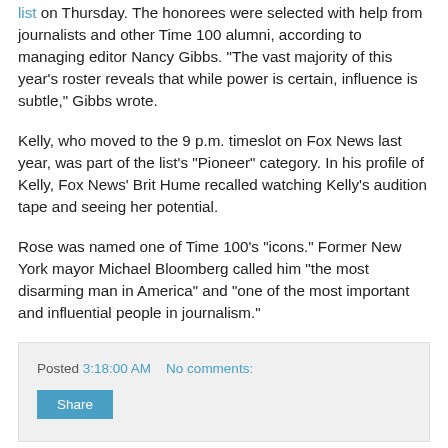list on Thursday. The honorees were selected with help from journalists and other Time 100 alumni, according to managing editor Nancy Gibbs. "The vast majority of this year's roster reveals that while power is certain, influence is subtle," Gibbs wrote.
Kelly, who moved to the 9 p.m. timeslot on Fox News last year, was part of the list's "Pioneer" category. In his profile of Kelly, Fox News' Brit Hume recalled watching Kelly's audition tape and seeing her potential.
Rose was named one of Time 100's "icons." Former New York mayor Michael Bloomberg called him "the most disarming man in America" and "one of the most important and influential people in journalism."
Posted 3:18:00 AM   No comments:
Share
Ronald MacDonald Gets Makeover